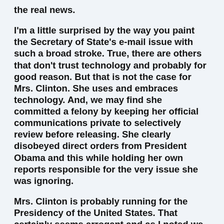the real news.
I'm a little surprised by the way you paint the Secretary of State's e-mail issue with such a broad stroke. True, there are others that don't trust technology and probably for good reason. But that is not the case for Mrs. Clinton. She uses and embraces technology. And, we may find she committed a felony by keeping her official communications private to selectively review before releasing. She clearly disobeyed direct orders from President Obama and this while holding her own reports responsible for the very issue she was ignoring.
Mrs. Clinton is probably running for the Presidency of the United States. That certainly seems arrogant and as I noted we could find her actions were criminal. You frequently promote